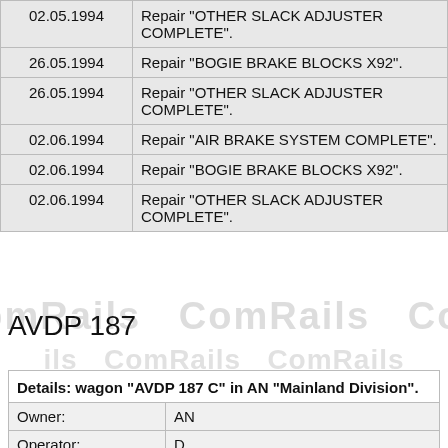| Date | Description |
| --- | --- |
| 02.05.1994 | Repair "OTHER SLACK ADJUSTER COMPLETE". |
| 26.05.1994 | Repair "BOGIE BRAKE BLOCKS X92". |
| 26.05.1994 | Repair "OTHER SLACK ADJUSTER COMPLETE". |
| 02.06.1994 | Repair "AIR BRAKE SYSTEM COMPLETE". |
| 02.06.1994 | Repair "BOGIE BRAKE BLOCKS X92". |
| 02.06.1994 | Repair "OTHER SLACK ADJUSTER COMPLETE". |
AVDP 187
| Details: wagon "AVDP 187 C" in AN "Mainland Division". |
| --- |
| Owner: | AN |
| Operator: | D |
| Length Over Headstocks: | 22.9m |